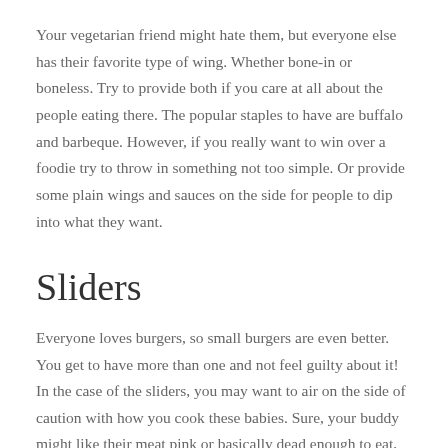Your vegetarian friend might hate them, but everyone else has their favorite type of wing. Whether bone-in or boneless. Try to provide both if you care at all about the people eating there. The popular staples to have are buffalo and barbeque. However, if you really want to win over a foodie try to throw in something not too simple. Or provide some plain wings and sauces on the side for people to dip into what they want.
Sliders
Everyone loves burgers, so small burgers are even better. You get to have more than one and not feel guilty about it! In the case of the sliders, you may want to air on the side of caution with how you cook these babies. Sure, your buddy might like their meat pink or basically dead enough to eat, but at the end of the night you want